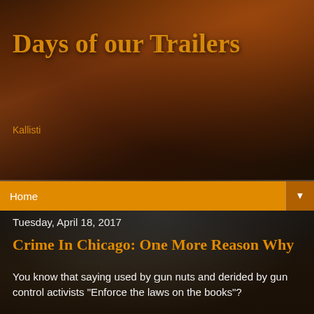Days of our Trailers
Kallisti
Home ▼
Tuesday, April 18, 2017
Crime In Chicago: One More Reason Why
You know that saying used by gun nuts and derided by gun control activists "Enforce the laws on the books"?
Case in point..
Simone Mousheh, 23, pleaded guilty Thursday to the illegal transfer of firearms in exchange for 12 months probation and 15 days in the Cook County sheriff's work alternative program,